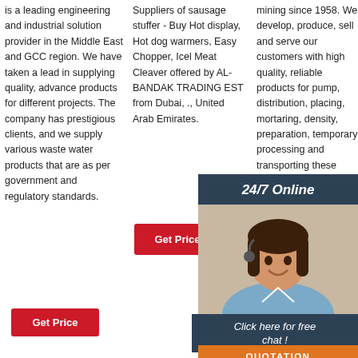is a leading engineering and industrial solution provider in the Middle East and GCC region. We have taken a lead in supplying quality, advance products for different projects. The company has prestigious clients, and we supply various waste water products that are as per government and regulatory standards.
Get Price
Suppliers of sausage stuffer - Buy Hot display, Hot dog warmers, Easy Chopper, Icel Meat Cleaver offered by AL-BANDAK TRADING EST from Dubai, ., United Arab Emirates.
Get Price
mining since 1958. We develop, produce, sell and serve our customers with high quality, reliable products for pump, distribution, placing, mortaring, density, preparation, temporary processing and transporting these materials.
Get Price
24/7 Online
Click here for free chat !
QUOTATION